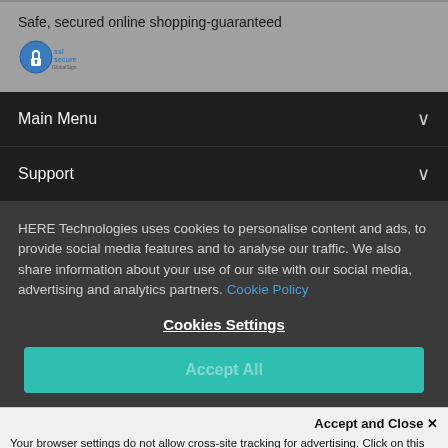Safe, secured online shopping-guaranteed
[Figure (logo): SSL Secure / GlobalSign or similar trust badge logo with padlock icon]
Main Menu
Support
HERE Technologies uses cookies to personalise content and ads, to provide social media features and to analyse our traffic. We also share information about your use of our site with our social media, advertising and analytics partners. Cookie Policy
Cookies Settings
Accept and Close ✕
Your browser settings do not allow cross-site tracking for advertising. Click on this page to allow AdRoll to use cross-site tracking to tailor ads to you. Learn more or opt out of this AdRoll tracking by clicking here. This message only appears once.